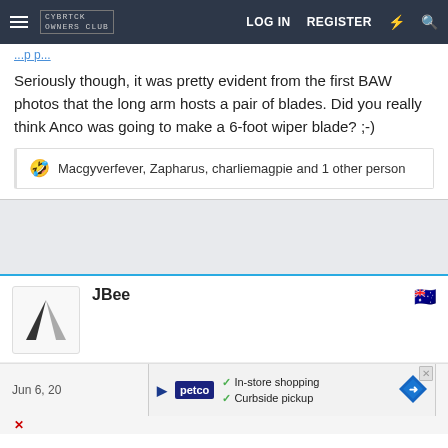Cybertruck Owners Club — LOG IN | REGISTER
Seriously though, it was pretty evident from the first BAW photos that the long arm hosts a pair of blades. Did you really think Anco was going to make a 6-foot wiper blade? ;-)
🤣 Macgyverfever, Zapharus, charliemagpie and 1 other person
[Figure (other): Gray background section (ad space)]
JBee
[Figure (logo): JBee user avatar - triangular logo shape]
Jun 6, 20... #6
[Figure (other): Ad banner: Petco - In-store shopping, Curbside pickup]